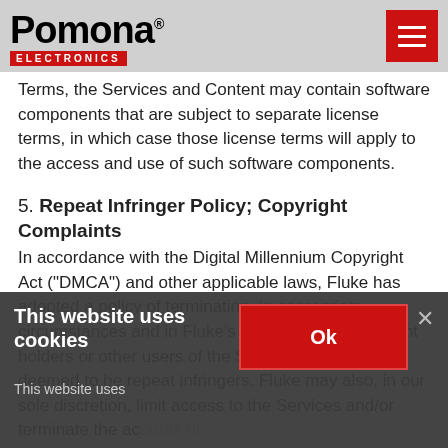Pomona Electronics
Terms, the Services and Content may contain software components that are subject to separate license terms, in which case those license terms will apply to the access and use of such software components.
5. Repeat Infringer Policy; Copyright Complaints
In accordance with the Digital Millennium Copyright Act ("DMCA") and other applicable laws, Fluke has adopted a policy of terminating, in appropriate circumstances and in Fluke's sole discretion, account holders or other users of the Services who are deemed to be repeat infringers.  Fluke may also, in our sole discretion, limit access to the Services and/or terminate the accounts of
This website uses cookies
This website uses